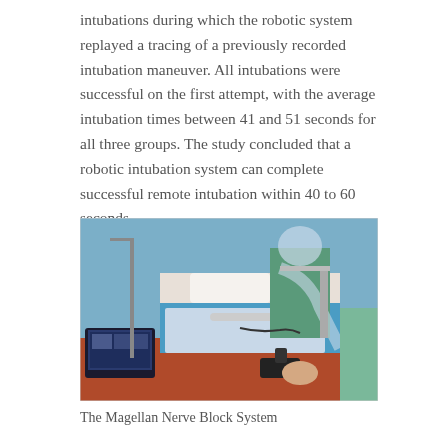intubations during which the robotic system replayed a tracing of a previously recorded intubation maneuver. All intubations were successful on the first attempt, with the average intubation times between 41 and 51 seconds for all three groups. The study concluded that a robotic intubation system can complete successful remote intubation within 40 to 60 seconds.
[Figure (photo): Medical scene showing a patient on a hospital bed with a robotic intubation device being used. A healthcare worker in scrubs is visible in the background. A laptop computer is visible in the foreground. The scene is in a clinical setting with blue walls.]
The Magellan Nerve Block System